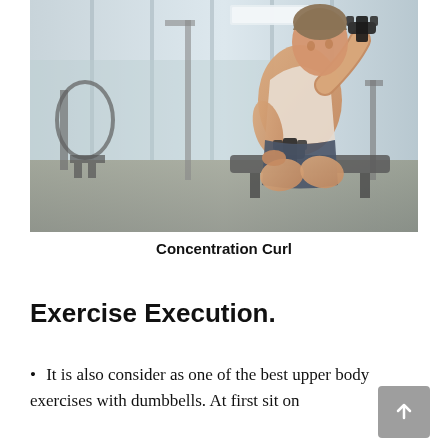[Figure (photo): A muscular man sitting on a gym bench performing a concentration curl with a dumbbell in a gym setting with exercise equipment visible in the background.]
Concentration Curl
Exercise Execution.
It is also consider as one of the best upper body exercises with dumbbells. At first sit on